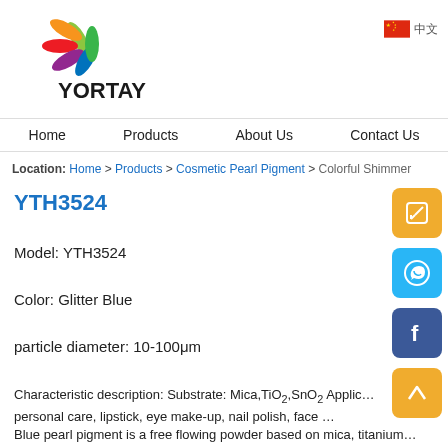[Figure (logo): Yortay logo with colorful leaf/petal design and YORTAY text]
Home  Products  About Us  Contact Us
Location: Home > Products > Cosmetic Pearl Pigment > Colorful Shimmer
YTH3524
Model: YTH3524
Color: Glitter Blue
particle diameter: 10-100μm
Characteristic description: Substrate: Mica,TiO2,SnO2 Application: personal care, lipstick, eye make-up, nail polish, face …
Blue pearl pigment is a free flowing powder based on mica, titanium …